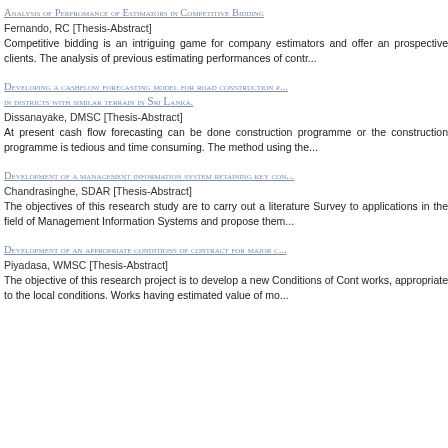ANALYSIS OF PERFROMANCE OF ESTIMATORS IN COMPETITIVE BIDDING
Fernando, RC [Thesis-Abstract]
Competitive bidding is an intriguing game for company estimators and offer an prospective clients. The analysis of previous estimating performances of contr...
DEVELOPING A CASHFLOW FORECASTING MODEL FOR ROAD CONSTRUCTION P... IN DISTRICTS WITH SIMILAR TERRAIN IN SRI LANKA.
Dissanayake, DMSC [Thesis-Abstract]
At present cash flow forecasting can be done construction programme or the construction programme is tedious and time consuming. The method using the...
DEVELOPMENT OF A MANAGEMENT INFORMATION SYSTEM RETAINING KEY CON...
Chandrasinghe, SDAR [Thesis-Abstract]
The objectives of this research study are to carry out a literature Survey to applications in the field of Management Information Systems and propose them...
DEVELOPMENT OF AN APPROPRIATE CONDITIONS OF CONTRACT FOR MAJOR C...
Piyadasa, WMSC [Thesis-Abstract]
The objective of this research project is to develop a new Conditions of Cont works, appropriate to the local conditions. Works having estimated value of mo...